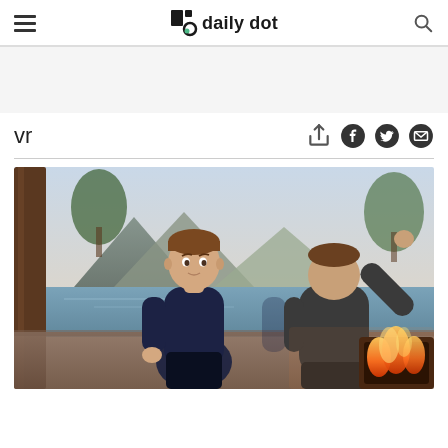daily dot
vr
[Figure (screenshot): Article header image showing two avatars in a VR/metaverse scene — a Mark Zuckerberg-like avatar in a dark outfit facing another figure with a fireplace and lake/mountain background.]